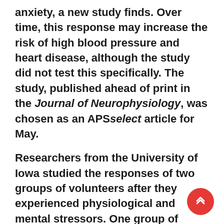anxiety, a new study finds. Over time, this response may increase the risk of high blood pressure and heart disease, although the study did not test this specifically. The study, published ahead of print in the Journal of Neurophysiology, was chosen as an APSselect article for May.
Researchers from the University of Iowa studied the responses of two groups of volunteers after they experienced physiological and mental stressors. One group of people had chronic anxiety as determined by standardized scales used to measure anxiety and depression. The control group did not have anxiety. The research team placed the volunteers' hands in an ice-water bath for two minutes to assess their responses to physiological stress. After a brief recovery period, the participants verbally solved